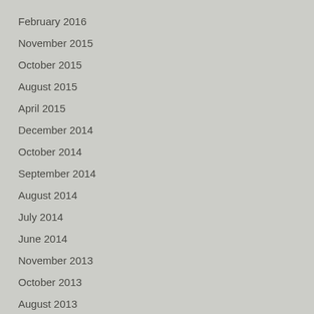February 2016
November 2015
October 2015
August 2015
April 2015
December 2014
October 2014
September 2014
August 2014
July 2014
June 2014
November 2013
October 2013
August 2013
July 2013
June 2013